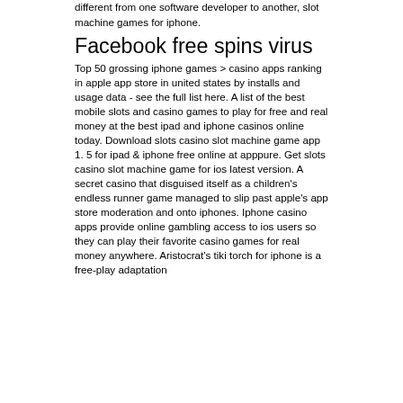different from one software developer to another, slot machine games for iphone.
Facebook free spins virus
Top 50 grossing iphone games &gt; casino apps ranking in apple app store in united states by installs and usage data - see the full list here. A list of the best mobile slots and casino games to play for free and real money at the best ipad and iphone casinos online today. Download slots casino slot machine game app 1. 5 for ipad &amp; iphone free online at apppure. Get slots casino slot machine game for ios latest version. A secret casino that disguised itself as a children's endless runner game managed to slip past apple's app store moderation and onto iphones. Iphone casino apps provide online gambling access to ios users so they can play their favorite casino games for real money anywhere. Aristocrat's tiki torch for iphone is a free-play adaptation